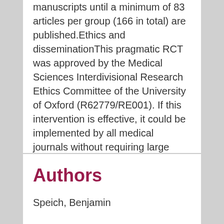manuscripts until a minimum of 83 articles per group (166 in total) are published.Ethics and disseminationThis pragmatic RCT was approved by the Medical Sciences Interdivisional Research Ethics Committee of the University of Oxford (R62779/RE001). If this intervention is effective, it could be implemented by all medical journals without requiring large additional resources at journal level. Findings will be disseminated through presentations in relevant conferences and peer-reviewed publications. This trial is registered on the Open Science Framework (https://osf.io/c4hn8).
Authors
Speich, Benjamin